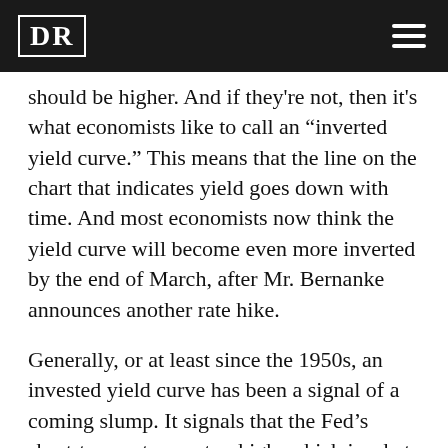DR
should be higher. And if they're not, then it's what economists like to call an “inverted yield curve.” This means that the line on the chart that indicates yield goes down with time. And most economists now think the yield curve will become even more inverted by the end of March, after Mr. Bernanke announces another rate hike.
Generally, or at least since the 1950s, an invested yield curve has been a signal of a coming slump. It signals that the Fed’s short-term rates are too high, which is what makes the economy slump, many believe.
And the fourth quarter of 2005 suggested – well, it was more like proclaimed at the top of its voice – that a